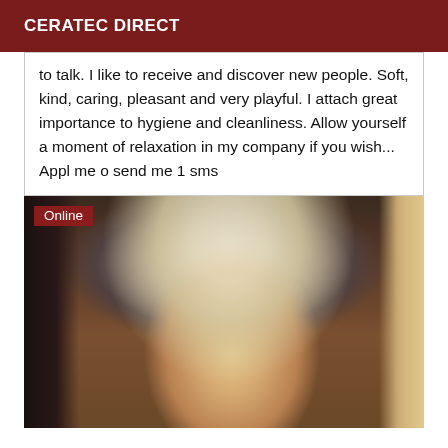CERATEC DIRECT
to talk. I like to receive and discover new people. Soft, kind, caring, pleasant and very playful. I attach great importance to hygiene and cleanliness. Allow yourself a moment of relaxation in my company if you wish... Appl me o send me 1 sms
[Figure (photo): A photo of a blonde woman with heavy makeup looking at the camera. An 'Online' badge appears in the top-left corner of the image.]